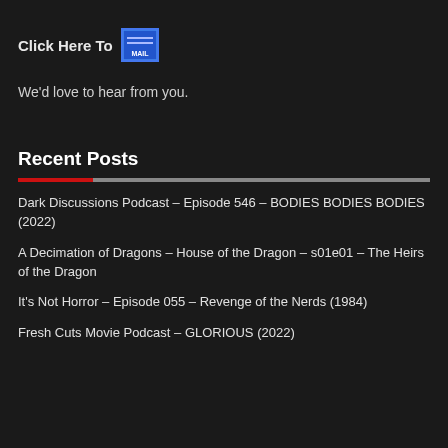Click Here To [MAIL icon]
We'd love to hear from you.
Recent Posts
Dark Discussions Podcast – Episode 546 – BODIES BODIES BODIES (2022)
A Decimation of Dragons – House of the Dragon – s01e01 – The Heirs of the Dragon
It's Not Horror – Episode 055 – Revenge of the Nerds (1984)
Fresh Cuts Movie Podcast – GLORIOUS (2022)